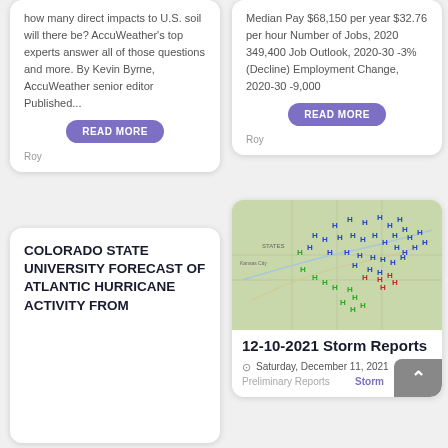how many direct impacts to U.S. soil will there be? AccuWeather's top experts answer all of those questions and more. By Kevin Byrne, AccuWeather senior editor Published...
READ MORE
Roy
Median Pay $68,150 per year $32.76 per hour Number of Jobs, 2020 349,400 Job Outlook, 2020-30 -3% (Decline) Employment Change, 2020-30 -9,000
READ MORE
Roy
COLORADO STATE UNIVERSITY FORECAST OF ATLANTIC HURRICANE ACTIVITY FROM
[Figure (map): 12-10-2021 Storm Reports map showing storm report locations across central/eastern US with blue, red, and green markers]
12-10-2021 Storm Reports
Saturday, December 11, 2021
Preliminary Reports